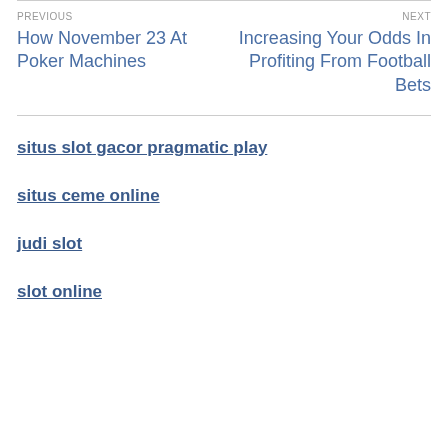PREVIOUS
How November 23 At Poker Machines
NEXT
Increasing Your Odds In Profiting From Football Bets
situs slot gacor pragmatic play
situs ceme online
judi slot
slot online